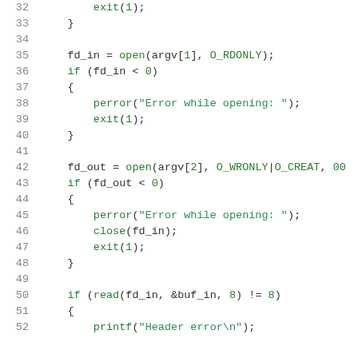Code listing lines 32-52 showing C file I/O operations including open, perror, exit, close, read, and printf function calls with error handling blocks.